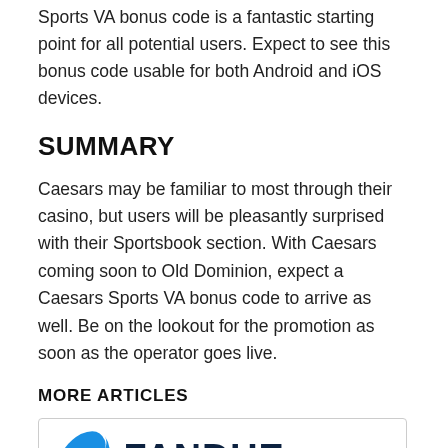Sports VA bonus code is a fantastic starting point for all potential users. Expect to see this bonus code usable for both Android and iOS devices.
SUMMARY
Caesars may be familiar to most through their casino, but users will be pleasantly surprised with their Sportsbook section. With Caesars coming soon to Old Dominion, expect a Caesars Sports VA bonus code to arrive as well. Be on the lookout for the promotion as soon as the operator goes live.
MORE ARTICLES
[Figure (logo): FanDuel logo with blue partial circle icon and dark navy FANDUEL text]